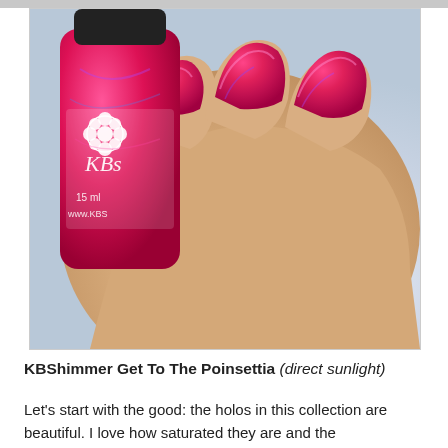[Figure (photo): Close-up photo of a hand holding a KBShimmer nail polish bottle (labeled 'KBS', 15ml, www.KBS...) with red holographic glitter nail polish applied on the nails, against a sparkly silver/iridescent background. The nail polish is a vivid hot pink/red with holographic shimmer.]
KBShimmer Get To The Poinsettia (direct sunlight)
Let's start with the good: the holos in this collection are beautiful. I love how saturated they are and the